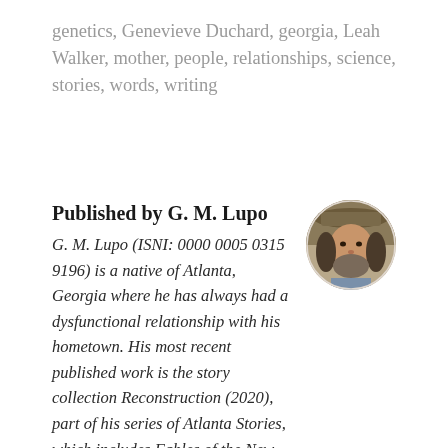genetics, Genevieve Duchard, georgia, Leah Walker, mother, people, relationships, science, stories, words, writing
Published by G. M. Lupo
[Figure (photo): Circular cropped portrait photo of G. M. Lupo, a bearded man with long hair wearing a hat, outdoors]
G. M. Lupo (ISNI: 0000 0005 0315 9196) is a native of Atlanta, Georgia where he has always had a dysfunctional relationship with his hometown. His most recent published work is the story collection Reconstruction (2020), part of his series of Atlanta Stories, which includes Fables of the New South (2017). Along with his novel, Rebecca, Too (2018), and his full-length play Another Mother, these constitute his Expanded Universe of Fictional Atlanta. He has also released a